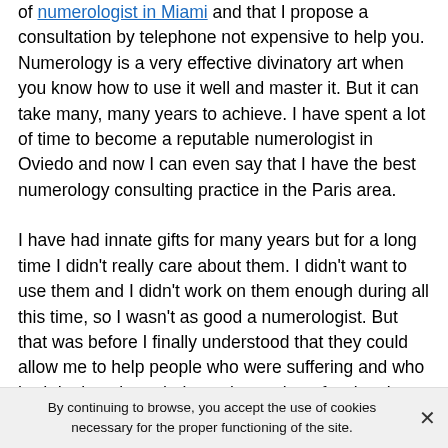of numerologist in Miami and that I propose a consultation by telephone not expensive to help you. Numerology is a very effective divinatory art when you know how to use it well and master it. But it can take many, many years to achieve. I have spent a lot of time to become a reputable numerologist in Oviedo and now I can even say that I have the best numerology consulting practice in the Paris area.

I have had innate gifts for many years but for a long time I didn't really care about them. I didn't want to use them and I didn't work on them enough during all this time, so I wasn't as good a numerologist. But that was before I finally understood that they could allow me to help people who were suffering and who had doubts about their sentimental, professional or other relationships. I must say that being able to provide solutions to these individuals has become the most important thing in my life. I know that
By continuing to browse, you accept the use of cookies necessary for the proper functioning of the site.